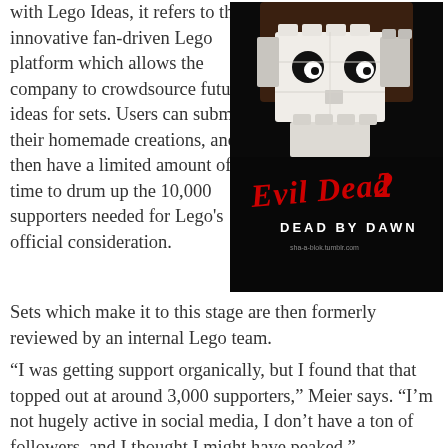with Lego Ideas, it refers to the innovative fan-driven Lego platform which allows the company to crowdsource future ideas for sets. Users can submit their homemade creations, and then have a limited amount of time to drum up the 10,000 supporters needed for Lego's official consideration. Sets which make it to this stage are then formerly reviewed by an internal Lego team.
[Figure (photo): A LEGO skull/skeleton figure built from white LEGO bricks on a dark background, styled as a poster for the movie 'Evil Dead 2: Dead by Dawn', with the movie title in red horror-style text below the figure.]
“I was getting support organically, but I found that that topped out at around 3,000 supporters,” Meier says. “I’m not hugely active in social media, I don’t have a ton of followers, and I thought I might have peaked.”